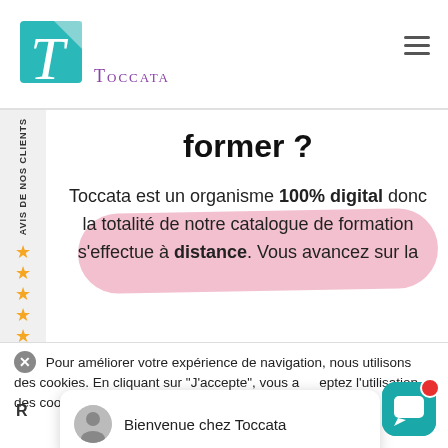[Figure (logo): Toccata logo: teal square with italic T letterform in white/grey, company name TOCCATA in purple small-caps below]
former ?
Toccata est un organisme 100% digital donc la totalité de notre catalogue de formation s'effectue à distance. Vous avancez sur la
Pour améliorer votre expérience de navigation, nous utilisons des cookies. En cliquant sur "J'accepte", vous acceptez l'utilisation des cookies.
Bienvenue chez Toccata